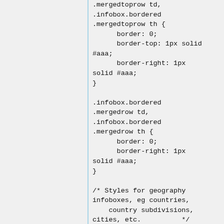.mergedtoprow td,
.infobox.bordered
.mergedtoprow th {
    border: 0;
    border-top: 1px solid
#aaa;
    border-right: 1px
solid #aaa;
}

.infobox.bordered
.mergedrow td,
.infobox.bordered
.mergedrow th {
    border: 0;
    border-right: 1px
solid #aaa;
}

/* Styles for geography
infoboxes, eg countries,
   country subdivisions,
cities, etc.          */
.infobox.geography {